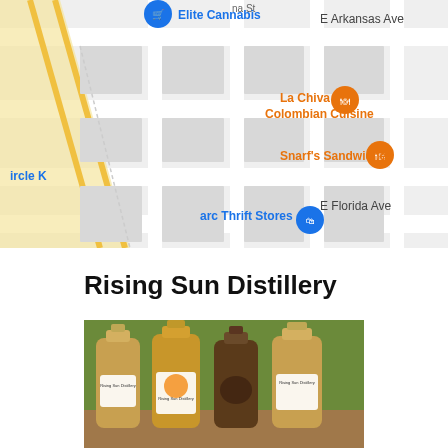[Figure (map): Google Maps screenshot showing area near E Arkansas Ave and E Florida Ave in Denver, CO. Landmarks include Elite Cannabis (blue pin), La Chiva Colombian Cuisine (orange restaurant pin), Snarf's Sandwiches (orange restaurant pin), arc Thrift Stores (blue shopping pin), circle K, and street labeled 'na St'. Yellow diagonal road visible on left.]
Rising Sun Distillery
[Figure (photo): Photo of four glass bottles of Rising Sun Distillery spirits arranged in a row on a wooden surface with a green background. Bottles have labels with fruit illustrations including strawberries, peach, and peppers. Three bottles show amber/gold liquid.]